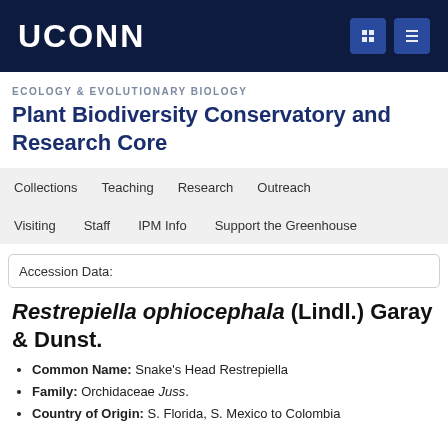UCONN
ECOLOGY & EVOLUTIONARY BIOLOGY
Plant Biodiversity Conservatory and Research Core
Collections | Teaching | Research | Outreach | Visiting | Staff | IPM Info | Support the Greenhouse
Accession Data:
Restrepiella ophiocephala (Lindl.) Garay & Dunst.
Common Name: Snake's Head Restrepiella
Family: Orchidaceae Juss.
Country of Origin: S. Florida, S. Mexico to Colombia